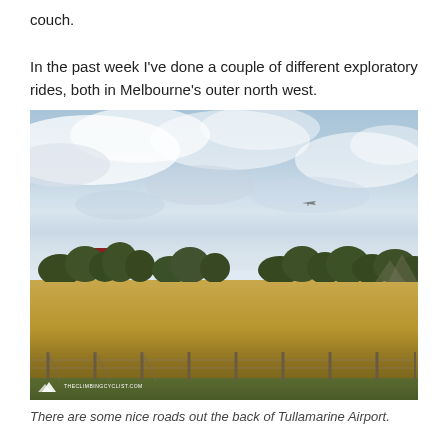couch.

In the past week I've done a couple of different exploratory rides, both in Melbourne's outer north west.
[Figure (photo): Outdoor rural landscape photograph showing a flat golden-brown paddock with a wire fence in the foreground, eucalyptus trees along the mid-horizon, a red-roofed building/barn, and an overcast blue-grey sky with clouds. A small aircraft is visible in the sky. A watermark logo appears at the bottom left reading 'theclimbingcyclist.com'.]
There are some nice roads out the back of Tullamarine Airport.